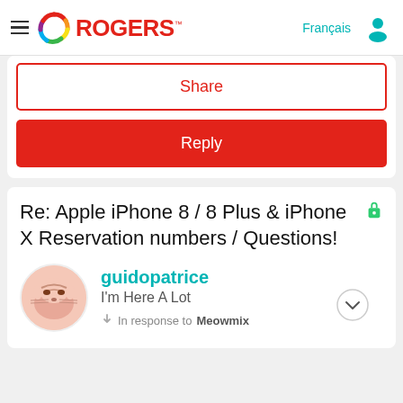Rogers — Français
Share
Reply
Re: Apple iPhone 8 / 8 Plus & iPhone X Reservation numbers / Questions!
guidopatrice
I'm Here A Lot
In response to Meowmix